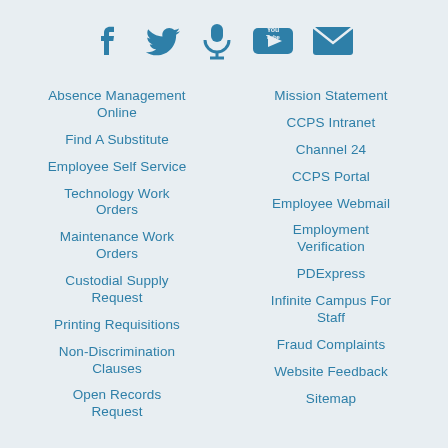[Figure (illustration): Social media icons row: Facebook, Twitter, microphone/podcast, YouTube, email/envelope — all in blue]
Absence Management Online
Find A Substitute
Employee Self Service
Technology Work Orders
Maintenance Work Orders
Custodial Supply Request
Printing Requisitions
Non-Discrimination Clauses
Open Records Request
Mission Statement
CCPS Intranet
Channel 24
CCPS Portal
Employee Webmail
Employment Verification
PDExpress
Infinite Campus For Staff
Fraud Complaints
Website Feedback
Sitemap